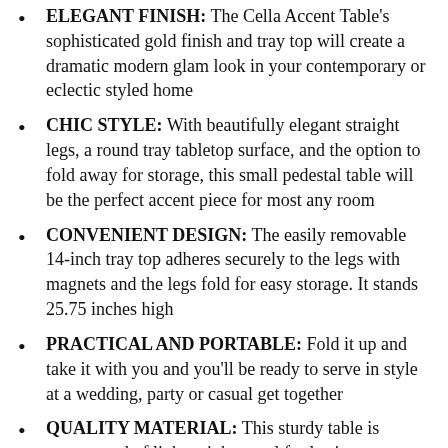ELEGANT FINISH: The Cella Accent Table's sophisticated gold finish and tray top will create a dramatic modern glam look in your contemporary or eclectic styled home
CHIC STYLE: With beautifully elegant straight legs, a round tray tabletop surface, and the option to fold away for storage, this small pedestal table will be the perfect accent piece for most any room
CONVENIENT DESIGN: The easily removable 14-inch tray top adheres securely to the legs with magnets and the legs fold for easy storage. It stands 25.75 inches high
PRACTICAL AND PORTABLE: Fold it up and take it with you and you'll be ready to serve in style at a wedding, party or casual get together
QUALITY MATERIAL: This sturdy table is constructed of lightweight metal for lasting durability with a resilient finish. It has easy pop-up assembly and glides